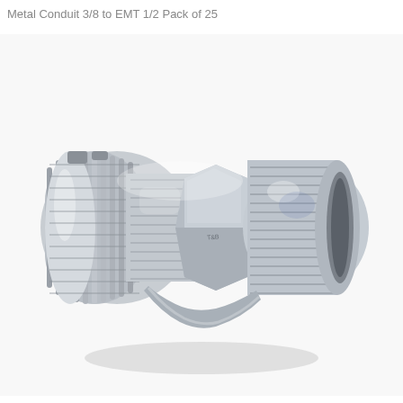Metal Conduit 3/8 to EMT 1/2 Pack of 25
[Figure (photo): A silver zinc die-cast metal conduit connector fitting, showing a 3/8 flexible metal conduit to 1/2 EMT adapter. The fitting has knurled/ribbed gripping sections on the left side and threaded sections on the right, with a hexagonal locknut in the middle. The component is photographed at a slight angle on a white background with a subtle shadow beneath it.]